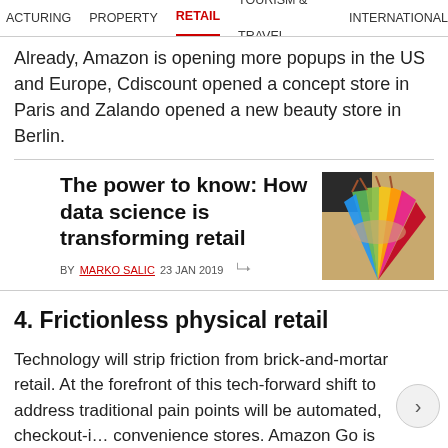ACTURING   PROPERTY   RETAIL   TOURISM & TRAVEL   INTERNATIONAL
Already, Amazon is opening more popups in the US and Europe, Cdiscount opened a concept store in Paris and Zalando opened a new beauty store in Berlin.
The power to know: How data science is transforming retail
BY MARKO SALIC 23 JAN 2019
[Figure (photo): Person holding colorful shopping bags in green, pink, blue, yellow colors]
4. Frictionless physical retail
Technology will strip friction from brick-and-mortar retail. At the forefront of this tech-forward shift to address traditional pain points will be automated, checkout-i… convenience stores. Amazon Go is already testing this